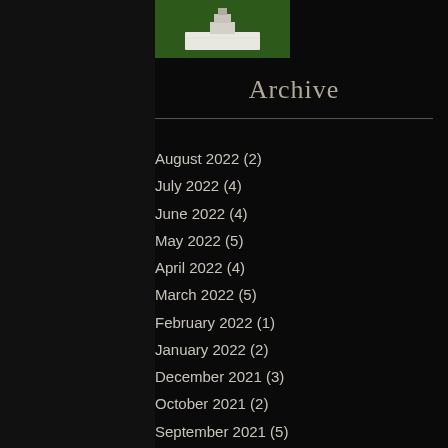[Figure (photo): Small thumbnail photo showing a cake or sculpture on a white surface with green background]
Archive
August 2022 (2)
July 2022 (4)
June 2022 (4)
May 2022 (5)
April 2022 (4)
March 2022 (5)
February 2022 (1)
January 2022 (2)
December 2021 (3)
October 2021 (2)
September 2021 (5)
August 2021 (1)
July 2021 (2)
June 2021 (3)
May 2021 (4)
April 2021 (2)
March 2021 (3)